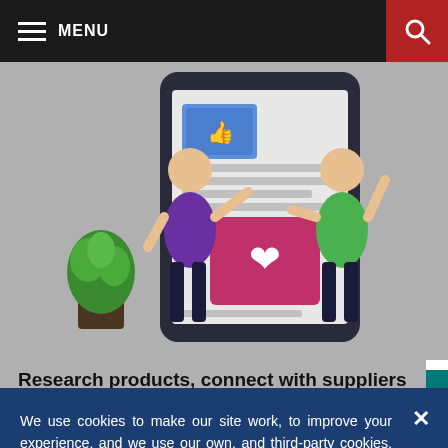MENU
[Figure (illustration): Illustration of two people interacting with a large tablet/phone screen showing social media content with thumbs up and heart icons, a small green tree to the left]
Research products, connect with suppliers and make confident purchasing decisions all in one place
We use cookies to make our site work, to improve your experience, and we use our own, and third-party cookies, for advertising. Please see our Cookie Policy for more information and how to disable them. By clicking accept, or closing the message and continuing to use this site, you agree to our use of cookies.
ACCEPT